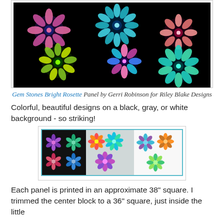[Figure (photo): Colorful geometric rosette/mandala patterns on a black background — Gem Stones Bright Rosette Panel by Gerri Robinson for Riley Blake Designs]
Gem Stones Bright Rosette Panel by Gerri Robinson for Riley Blake Designs
Colorful, beautiful designs on a black, gray, or white background - so striking!
[Figure (photo): Three panels side by side showing rosette designs on black, gray, and white backgrounds]
Each panel is printed in an approximate 38" square.  I trimmed the center block to a 36" square, just inside the little